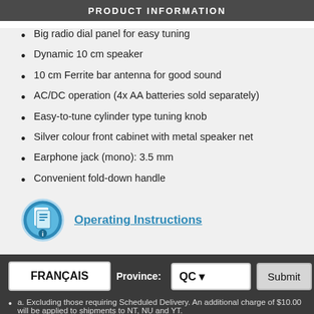PRODUCT INFORMATION
Big radio dial panel for easy tuning
Dynamic 10 cm speaker
10 cm Ferrite bar antenna for good sound
AC/DC operation (4x AA batteries sold separately)
Easy-to-tune cylinder type tuning knob
Silver colour front cabinet with metal speaker net
Earphone jack (mono): 3.5 mm
Convenient fold-down handle
[Figure (illustration): Document/manual icon in blue circle]
Operating Instructions
FRANÇAIS    Province: QC  Submit
a. Excluding those requiring Scheduled Delivery. An additional charge of $10.00 will be applied to shipments to NT, NU and YT.
b. Order and/or Category Discount is applied to the total order value, before sales